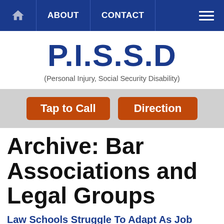ABOUT  CONTACT
P.I.S.S.D
(Personal Injury, Social Security Disability)
[Figure (screenshot): Two orange call-to-action buttons: 'Tap to Call' and 'Direction']
Archive: Bar Associations and Legal Groups
Law Schools Struggle To Adapt As Job Market Sours